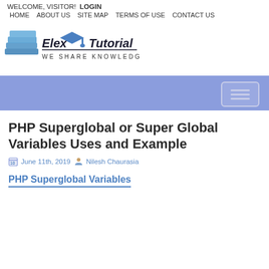WELCOME, VISITOR!  LOGIN
HOME  ABOUT US  SITE MAP  TERMS OF USE  CONTACT US
[Figure (logo): Elex Tutorial logo with books icon and tagline WE SHARE KNOWLEDGE]
[Figure (other): Blue/purple banner with a button icon on the right]
PHP Superglobal or Super Global Variables Uses and Example
June 11th, 2019  Nilesh Chaurasia
PHP Superglobal Variables